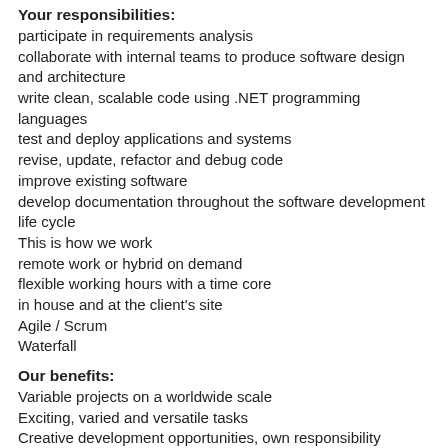Your responsibilities:
participate in requirements analysis
collaborate with internal teams to produce software design and architecture
write clean, scalable code using .NET programming languages
test and deploy applications and systems
revise, update, refactor and debug code
improve existing software
develop documentation throughout the software development life cycle
This is how we work
remote work or hybrid on demand
flexible working hours with a time core
in house and at the client's site
Agile / Scrum
Waterfall
Our benefits:
Variable projects on a worldwide scale
Exciting, varied and versatile tasks
Creative development opportunities, own responsibility
Flat hierarchies
A modern working environment